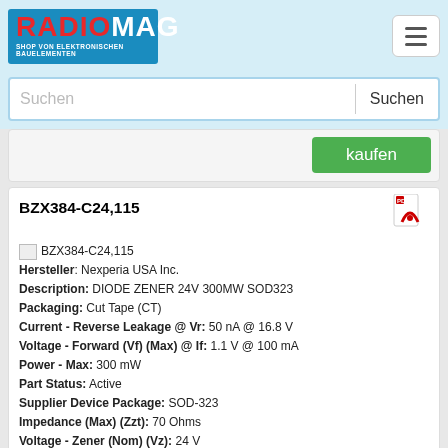RADIOMAG - SHOP VON ELEKTRONISCHEN BAUELEMENTEN
Suchen
kaufen
BZX384-C24,115
Hersteller: Nexperia USA Inc.
Description: DIODE ZENER 24V 300MW SOD323
Packaging: Cut Tape (CT)
Current - Reverse Leakage @ Vr: 50 nA @ 16.8 V
Voltage - Forward (Vf) (Max) @ If: 1.1 V @ 100 mA
Power - Max: 300 mW
Part Status: Active
Supplier Device Package: SOD-323
Impedance (Max) (Zzt): 70 Ohms
Voltage - Zener (Nom) (Vz): 24 V
Operating Temperature: -65°C ~ 150°C
Mounting Type: Surface Mount
Package / Case: SC-76, SOD-323
Tolerance: ±5%
auf Bestellung 30771 Stücke